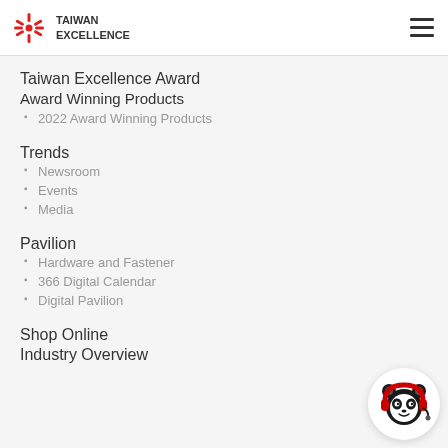TAIWAN EXCELLENCE
Taiwan Excellence Award
Award Winning Products
2022 Award Winning Products
Trends
Newsroom
Events
Media
Pavilion
Hardware and Fastener
366 Digital Calendar
Digital Pavilion
Shop Online
Industry Overview
[Figure (illustration): Taiwan Excellence mascot character — a panda wearing red headphones, circular white background]